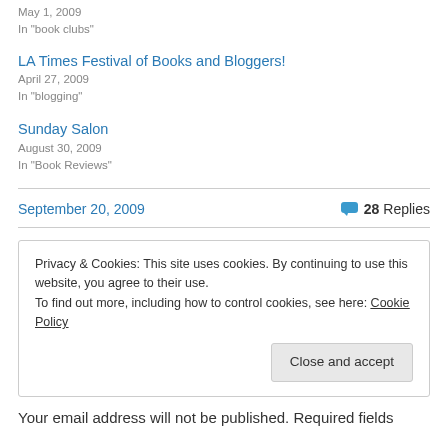May 1, 2009
In "book clubs"
LA Times Festival of Books and Bloggers!
April 27, 2009
In "blogging"
Sunday Salon
August 30, 2009
In "Book Reviews"
September 20, 2009   28 Replies
Privacy & Cookies: This site uses cookies. By continuing to use this website, you agree to their use. To find out more, including how to control cookies, see here: Cookie Policy
Close and accept
Your email address will not be published. Required fields